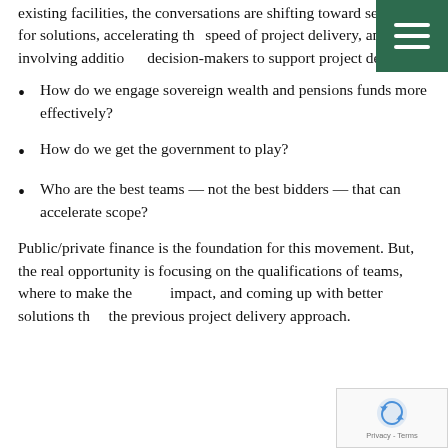existing facilities, the conversations are shifting toward searching for solutions, accelerating the speed of project delivery, and involving additional decision-makers to support project delivery.
How do we engage sovereign wealth and pensions funds more effectively?
How do we get the government to play?
Who are the best teams — not the best bidders — that can accelerate scope?
Public/private finance is the foundation for this movement. But, the real opportunity is focusing on the qualifications of teams, where to make the most impact, and coming up with better solutions than the previous project delivery approach.